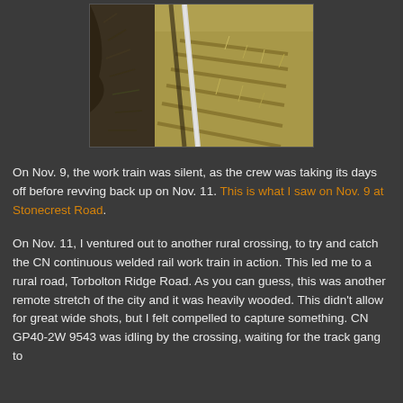[Figure (photo): Railroad track viewed from above/beside, showing a single shiny rail running diagonally through dry grass and brush. The rail reflects bright light. Brown and tan dried grass surrounds the track. Photo taken outdoors in autumn conditions.]
On Nov. 9, the work train was silent, as the crew was taking its days off before revving back up on Nov. 11. This is what I saw on Nov. 9 at Stonecrest Road.
On Nov. 11, I ventured out to another rural crossing, to try and catch the CN continuous welded rail work train in action. This led me to a rural road, Torbolton Ridge Road. As you can guess, this was another remote stretch of the city and it was heavily wooded. This didn't allow for great wide shots, but I felt compelled to capture something. CN GP40-2W 9543 was idling by the crossing, waiting for the track gang to